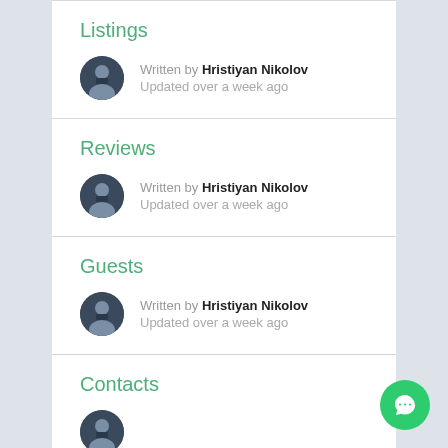Listings
Written by Hristiyan Nikolov
Updated over a week ago
Reviews
Written by Hristiyan Nikolov
Updated over a week ago
Guests
Written by Hristiyan Nikolov
Updated over a week ago
Contacts